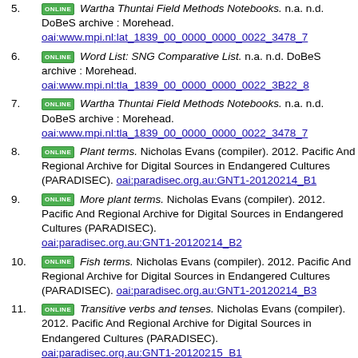5. ONLINE Wartha Thuntai Field Methods Notebooks. n.a. n.d. DoBeS archive : Morehead. oai:www.mpi.nl:lat_1839_00_0000_0000_0022_3478_7
6. ONLINE Word List: SNG Comparative List. n.a. n.d. DoBeS archive : Morehead. oai:www.mpi.nl:tla_1839_00_0000_0000_0022_3B22_8
7. ONLINE Wartha Thuntai Field Methods Notebooks. n.a. n.d. DoBeS archive : Morehead. oai:www.mpi.nl:tla_1839_00_0000_0000_0022_3478_7
8. ONLINE Plant terms. Nicholas Evans (compiler). 2012. Pacific And Regional Archive for Digital Sources in Endangered Cultures (PARADISEC). oai:paradisec.org.au:GNT1-20120214_B1
9. ONLINE More plant terms. Nicholas Evans (compiler). 2012. Pacific And Regional Archive for Digital Sources in Endangered Cultures (PARADISEC). oai:paradisec.org.au:GNT1-20120214_B2
10. ONLINE Fish terms. Nicholas Evans (compiler). 2012. Pacific And Regional Archive for Digital Sources in Endangered Cultures (PARADISEC). oai:paradisec.org.au:GNT1-20120214_B3
11. ONLINE Transitive verbs and tenses. Nicholas Evans (compiler). 2012. Pacific And Regional Archive for Digital Sources in Endangered Cultures (PARADISEC). oai:paradisec.org.au:GNT1-20120215_B1
12. ONLINE Minimal pairs. Nicholas Evans (compiler). 2012. Pacific And Regional Archive for Digital Sources in Endangered Cultures (PARADISEC). oai:paradisec.org.au:GNT1-20120215_B2